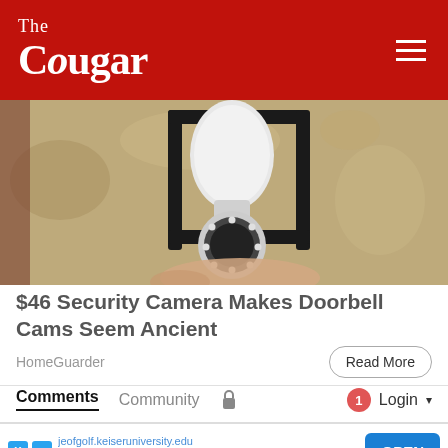The Cougar
[Figure (photo): A hand installing a white security camera shaped like a light bulb into an outdoor wall-mounted light fixture on a textured stone/stucco wall.]
$46 Security Camera Makes Doorbell Cams Seem Ancient
HomeGuarder
Read More
Comments  Community  🔒
1  Login ▾
jeofgolf.keiseruniversity.edu  Keiser Univ. College of Gol  OPEN